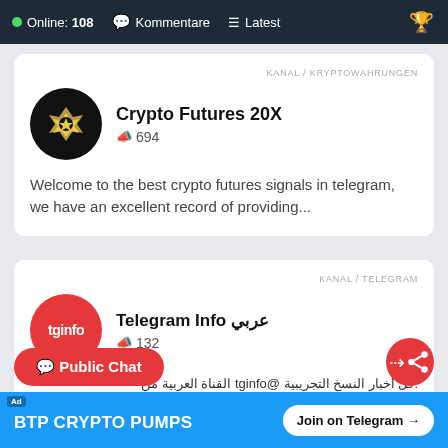Online: 108  Kommentare  Latest
KANAL / KRYPTOWAHRUNGEN
Crypto Futures 20X
694
Welcome to the best crypto futures signals in telegram, we have an excellent record of providing...
KANAL / TELEGRAM
Telegram Info عربي
132
:كل أخبار النسخ التجريبية @tginfo القناة العربية من
Ad  BTP CRYPTO PUMPS  Join on Telegram →